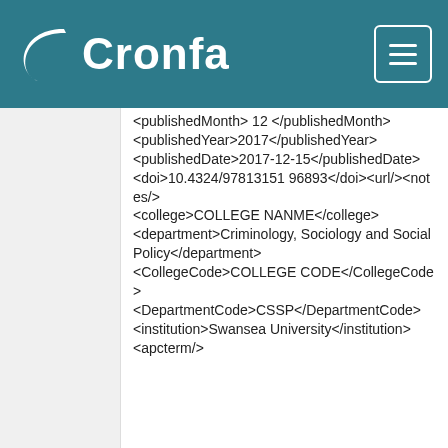Cronfa
<publishedMonth>12</publishedMonth><publishedYear>2017</publishedYear><publishedDate>2017-12-15</publishedDate><doi>10.4324/9781315196893</doi><url/><notes/><college>COLLEGE NANME</college><department>Criminology, Sociology and Social Policy</department><CollegeCode>COLLEGE CODE</CollegeCode><DepartmentCode>CSSP</DepartmentCode><institution>Swansea University</institution><apcterm/>